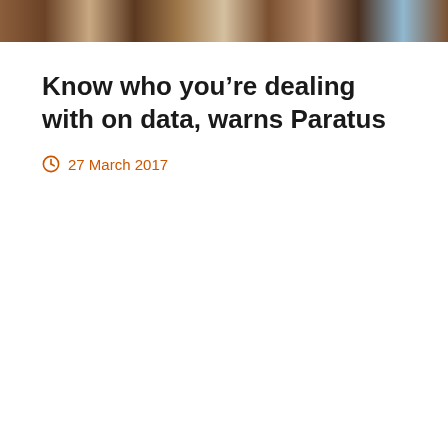[Figure (photo): A cropped photograph showing a group of people seated, visible from approximately the waist down, with various clothing and shoes visible]
Know who you’re dealing with on data, warns Paratus
27 March 2017